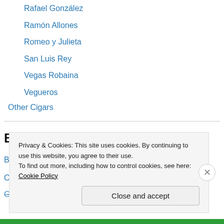Rafael González
Ramón Allones
Romeo y Julieta
San Luis Rey
Vegas Robaina
Vegueros
Other Cigars
Belgian Beer
Brugse Zot Dubbel
Corsendonk Agnus – Tripel
Goudon Carolus Classic
Privacy & Cookies: This site uses cookies. By continuing to use this website, you agree to their use.
To find out more, including how to control cookies, see here: Cookie Policy
Close and accept